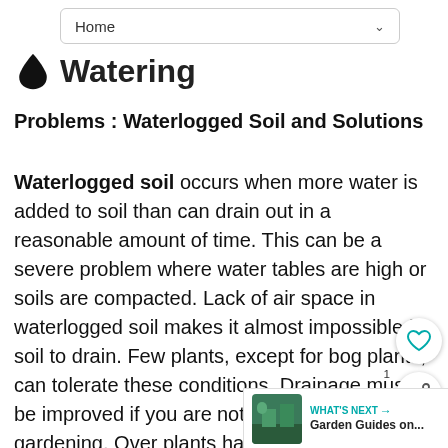Home
Watering
Problems : Waterlogged Soil and Solutions
Waterlogged soil occurs when more water is added to soil than can drain out in a reasonable amount of time. This can be a severe problem where water tables are high or soils are compacted. Lack of air space in waterlogged soil makes it almost impossible for soil to drain. Few plants, except for bog plants, can tolerate these conditions. Drainage must be improved if you are not satisfied with bog gardening. Over plants have the same wilted leaves as under-